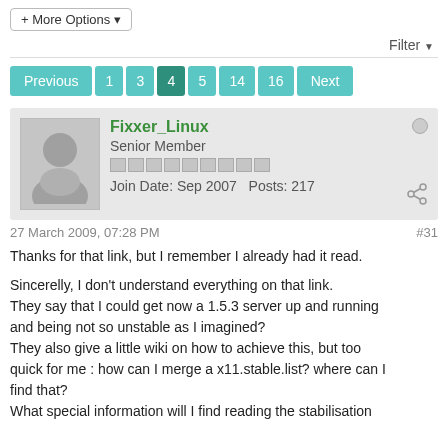+ More Options
Filter
Previous 1 3 4 5 14 16 Next
Fixxer_Linux
Senior Member
Join Date: Sep 2007   Posts: 217
27 March 2009, 07:28 PM   #31
Thanks for that link, but I remember I already had it read.

Sincerelly, I don't understand everything on that link.
They say that I could get now a 1.5.3 server up and running and being not so unstable as I imagined?
They also give a little wiki on how to achieve this, but too quick for me : how can I merge a x11.stable.list? where can I find that?
What special information will I find reading the stabilisation